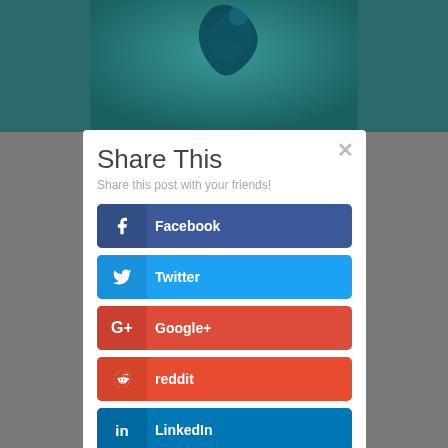[Figure (screenshot): Background showing teal ink-in-water photo at top and gray/blue sidebars]
Share This
Share this post with your friends!
Facebook
Twitter
Google+
reddit
LinkedIn
Like